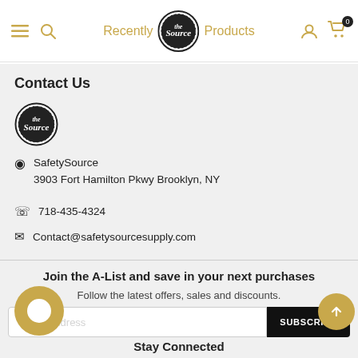Recently Viewed Products
Contact Us
[Figure (logo): The Source circular logo (small, black and white)]
SafetySource
3903 Fort Hamilton Pkwy Brooklyn, NY
718-435-4324
Contact@safetysourcesupply.com
Join the A-List and save in your next purchases
Follow the latest offers, sales and discounts.
Stay Connected